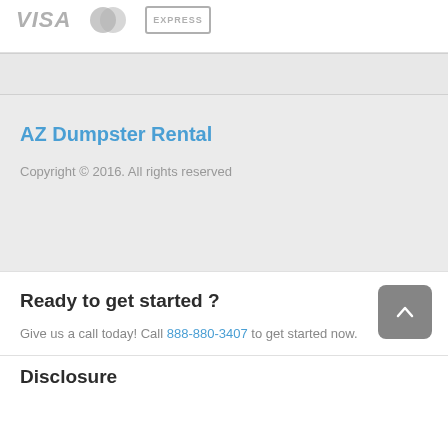[Figure (logo): Payment logos: VISA, Mastercard, American Express]
AZ Dumpster Rental
Copyright © 2016. All rights reserved
Ready to get started ?
Give us a call today! Call 888-880-3407 to get started now.
Disclosure